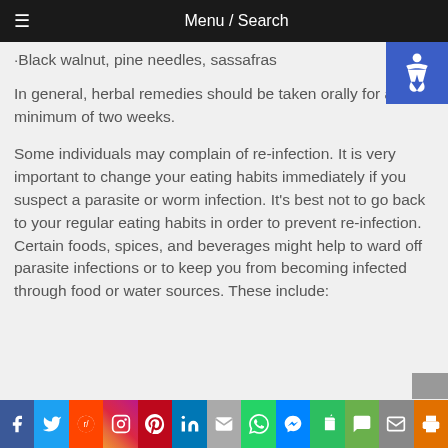≡  Menu / Search
·Black walnut, pine needles, sassafras
In general, herbal remedies should be taken orally for a minimum of two weeks.
Some individuals may complain of re-infection. It is very important to change your eating habits immediately if you suspect a parasite or worm infection. It's best not to go back to your regular eating habits in order to prevent re-infection. Certain foods, spices, and beverages might help to ward off parasite infections or to keep you from becoming infected through food or water sources. These include:
Facebook Twitter Reddit Instagram Pinterest LinkedIn Email WhatsApp Messenger Evernote SMS Mail Print